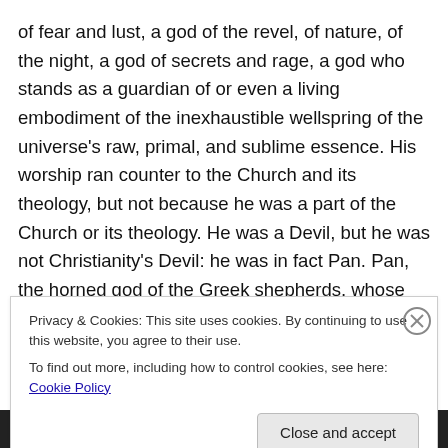of fear and lust, a god of the revel, of nature, of the night, a god of secrets and rage, a god who stands as a guardian of or even a living embodiment of the inexhaustible wellspring of the universe's raw, primal, and sublime essence. His worship ran counter to the Church and its theology, but not because he was a part of the Church or its theology. He was a Devil, but he was not Christianity's Devil: he was in fact Pan. Pan, the horned god of the Greek shepherds, whose music inspired fear and panic and sexual lust, Pan the god of the wild places and the lonely, magic, dangerous corners of the earth, the
Privacy & Cookies: This site uses cookies. By continuing to use this website, you agree to their use.
To find out more, including how to control cookies, see here: Cookie Policy